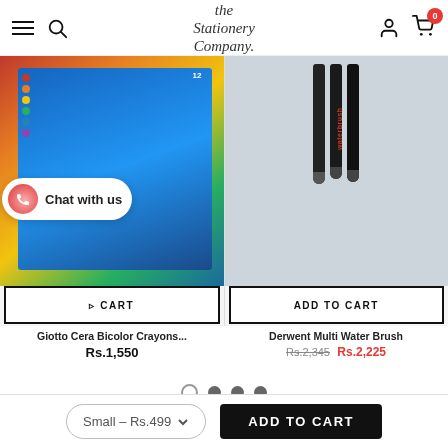The Stationery Company — navigation header with hamburger, search, logo, account, cart (0)
[Figure (photo): Giotto Cera Bicolor Crayons product image showing colorful crayon box]
ADD TO CART
Giotto Cera Bicolor Crayons...
Rs.1,550
[Figure (photo): Derwent Multi Water Brush product image showing brush pens in packaging]
ADD TO CART
Derwent Multi Water Brush
Rs.2,345  Rs.2,225
[Figure (other): Pagination dots: one empty circle and three filled circles]
Small – Rs.499  ADD TO CART